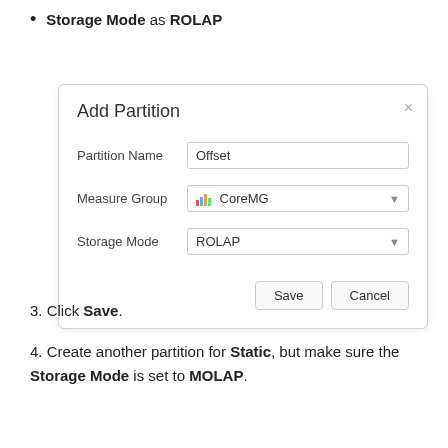Storage Mode as ROLAP
[Figure (screenshot): Add Partition dialog box with fields: Partition Name set to 'Offset', Measure Group set to '[bar chart icon] CoreMG', Storage Mode set to 'ROLAP'. Buttons: Save, Cancel. Close (x) button in top right.]
3. Click Save.
4. Create another partition for Static, but make sure the Storage Mode is set to MOLAP.